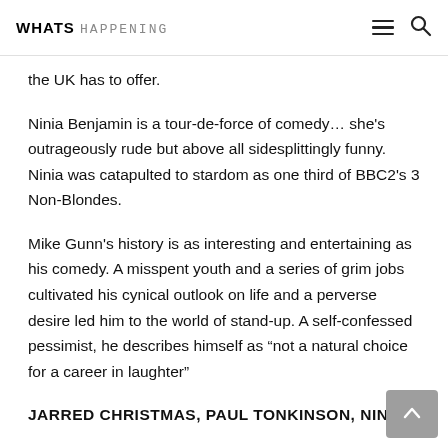WHATS HAPPENING
the UK has to offer.
Ninia Benjamin is a tour-de-force of comedy… she's outrageously rude but above all sidesplittingly funny. Ninia was catapulted to stardom as one third of BBC2's 3 Non-Blondes.
Mike Gunn's history is as interesting and entertaining as his comedy. A misspent youth and a series of grim jobs cultivated his cynical outlook on life and a perverse desire led him to the world of stand-up. A self-confessed pessimist, he describes himself as “not a natural choice for a career in laughter”
JARRED CHRISTMAS, PAUL TONKINSON, NINIA